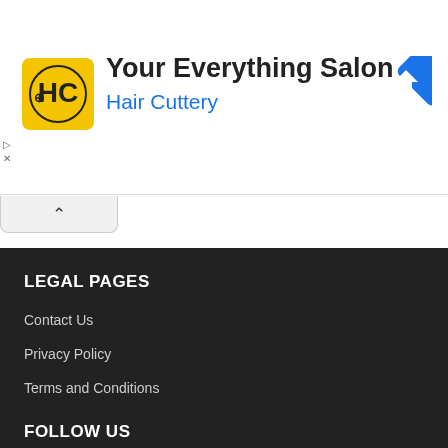[Figure (logo): Hair Cuttery advertisement banner with yellow HC logo, text 'Your Everything Salon / Hair Cuttery', and blue diamond direction arrow icon]
LEGAL PAGES
Contact Us
Privacy Policy
Terms and Conditions
FOLLOW US